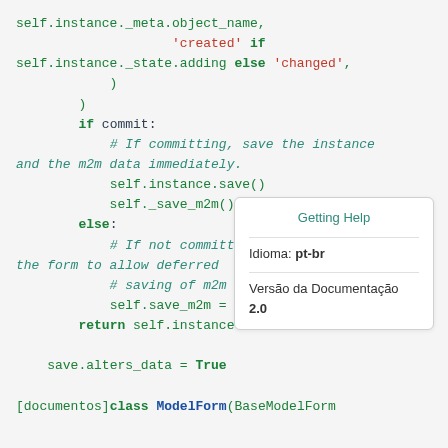[Figure (screenshot): Python source code snippet showing Django ModelForm save method logic with syntax highlighting. Shows conditional commit logic, m2m data saving, and a 'Getting Help' popup overlay with language 'pt-br' and documentation version '2.0'.]